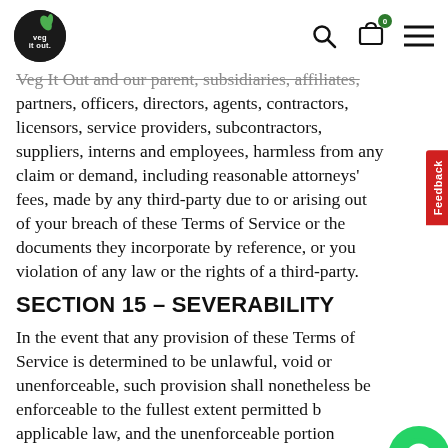Veg It Out logo, search, cart (0), menu icons
Veg It Out and our parent, subsidiaries, affiliates, partners, officers, directors, agents, contractors, licensors, service providers, subcontractors, suppliers, interns and employees, harmless from any claim or demand, including reasonable attorneys' fees, made by any third-party due to or arising out of your breach of these Terms of Service or the documents they incorporate by reference, or your violation of any law or the rights of a third-party.
SECTION 15 – SEVERABILITY
In the event that any provision of these Terms of Service is determined to be unlawful, void or unenforceable, such provision shall nonetheless be enforceable to the fullest extent permitted by applicable law, and the unenforceable portion shall be deemed to be severed from these Terms of